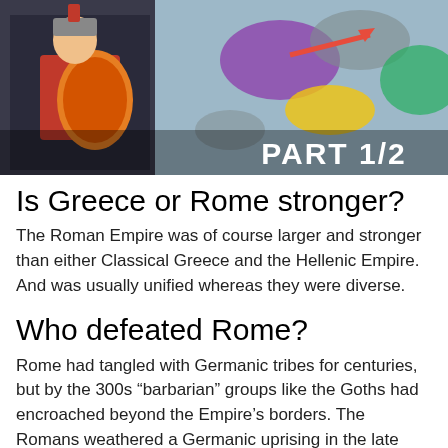[Figure (screenshot): Video thumbnail showing a Roman soldier with an orange shield on the left, and a colorful strategy game map on the right with a red arrow. Bold white text reads 'PART 1/2' in the lower center-right of the image.]
Is Greece or Rome stronger?
The Roman Empire was of course larger and stronger than either Classical Greece and the Hellenic Empire. And was usually unified whereas they were diverse.
Who defeated Rome?
Rome had tangled with Germanic tribes for centuries, but by the 300s “barbarian” groups like the Goths had encroached beyond the Empire’s borders. The Romans weathered a Germanic uprising in the late